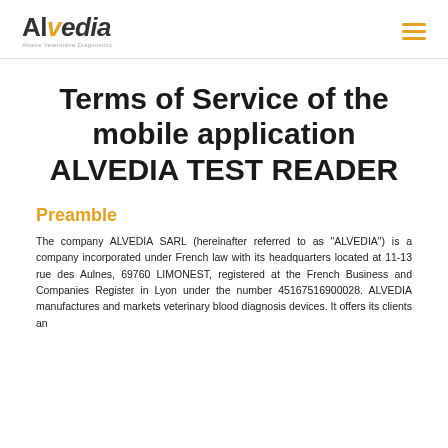Alvedia logo and navigation menu
Terms of Service of the mobile application ALVEDIA TEST READER
Preamble
The company ALVEDIA SARL (hereinafter referred to as "ALVEDIA") is a company incorporated under French law with its headquarters located at 11-13 rue des Aulnes, 69760 LIMONEST, registered at the French Business and Companies Register in Lyon under the number 45167516900028. ALVEDIA manufactures and markets veterinary blood diagnosis devices. It offers its clients an